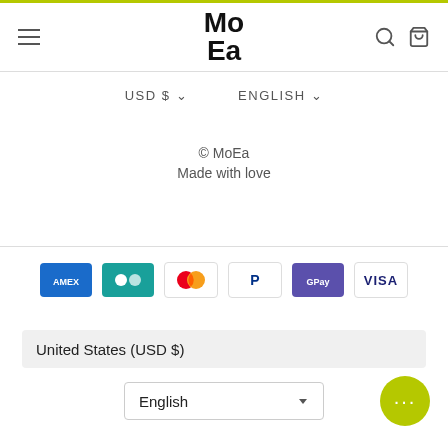MoEa
USD $ ∨   ENGLISH ∨
© MoEa
Made with love
[Figure (logo): Payment method icons: American Express, CB, Mastercard, PayPal, G Pay, Visa]
United States (USD $)
English